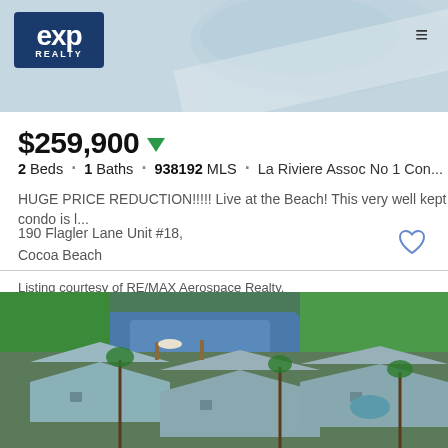[Figure (photo): Real estate website header with eXp Realty logo on blue background and hamburger menu icon, with aerial/pool background image]
$259,900 ▼
2 Beds · 1 Baths · 938192 MLS · La Riviere Assoc No 1 Con...
HUGE PRICE REDUCTION!!!!! Live at the Beach! This very well kept condo is l...
190 Flagler Lane Unit #18,
Cocoa Beach
Listing courtesy of RE/MAX Aerospace Realty.
[Figure (photo): Aerial photograph of waterfront neighborhood with canal, houses with metal roofs, palm trees, green lawns, and boats docked at private docks in Cocoa Beach, Florida]